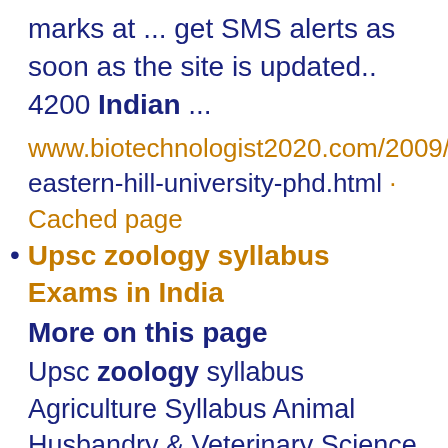marks at ... get SMS alerts as soon as the site is updated.. 4200 Indian ...
www.biotechnologist2020.com/2009/06/north-eastern-hill-university-phd.html · Cached page
Upsc zoology syllabus Exams in India
More on this page
Upsc zoology syllabus Agriculture Syllabus Animal Husbandry & Veterinary Science